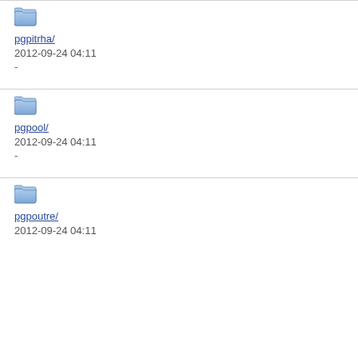[Figure (illustration): Folder icon for pgpitrha/]
pgpitrha/
2012-09-24 04:11
-
[Figure (illustration): Folder icon for pgpool/]
pgpool/
2012-09-24 04:11
-
[Figure (illustration): Folder icon for pgpoutre/]
pgpoutre/
2012-09-24 04:11